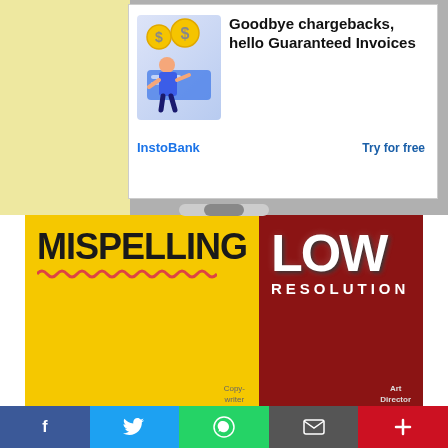[Figure (advertisement): Ad banner: illustration of person with dollar coins and credit card. Text: 'Goodbye chargebacks, hello Guaranteed Invoices'. Brand: InstoBank. CTA: Try for free]
[Figure (illustration): Two-panel creative concept image. Left panel: yellow background with 'MISPELLING' in large bold black text and red wavy underline, label 'Copy-writer'. Right panel: dark red background with 'LOW RESOLUTION' in large white distorted text, label 'Art Director'.]
2. Desi...
[Figure (infographic): Social sharing bar at bottom with Facebook, Twitter, WhatsApp, Email, and plus buttons]